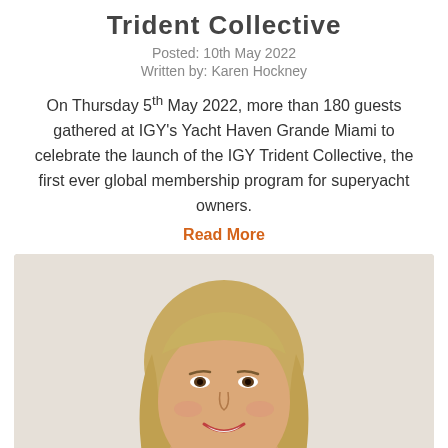Trident Collective
Posted: 10th May 2022
Written by: Karen Hockney
On Thursday 5th May 2022, more than 180 guests gathered at IGY's Yacht Haven Grande Miami to celebrate the launch of the IGY Trident Collective, the first ever global membership program for superyacht owners.
Read More
[Figure (photo): Portrait photo of Karen Hockney, a smiling woman with blonde hair and bangs, wearing a dark top, photographed against a light background.]